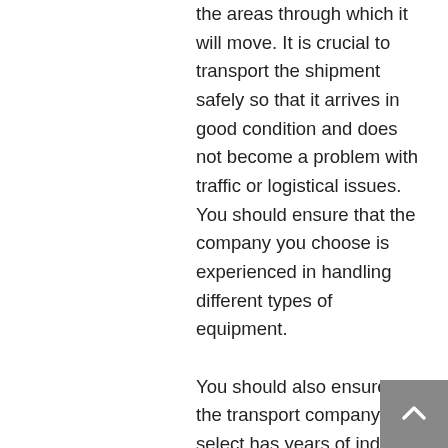the areas through which it will move. It is crucial to transport the shipment safely so that it arrives in good condition and does not become a problem with traffic or logistical issues. You should ensure that the company you choose is experienced in handling different types of equipment. You should also ensure that the transport company you select has years of industry experience. If the company has years of experience in this